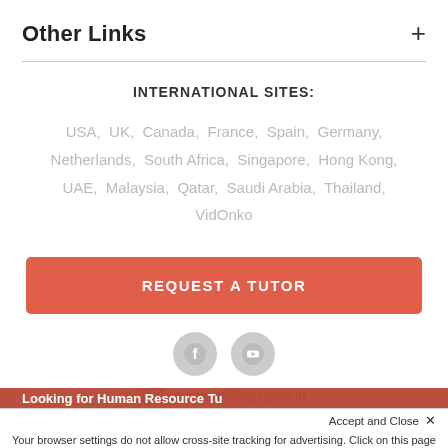Other Links
INTERNATIONAL SITES:
USA, UK, Canada, France, Spain, Germany, Netherlands, South Africa, Singapore, Hong Kong, UAE, Malaysia, Qatar, Saudi Arabia, Thailand, VidOnko
REQUEST A TUTOR
[Figure (illustration): Facebook and YouTube social media icons (grey circles with white icons)]
support@learnpick.in
Looking for Human Resource Tu...
Accept and Close ✕
Your browser settings do not allow cross-site tracking for advertising. Click on this page to allow AdRoll to use cross-site tracking to tailor ads to you. Learn more or opt out of this AdRoll tracking by clicking here. This message only appears once.